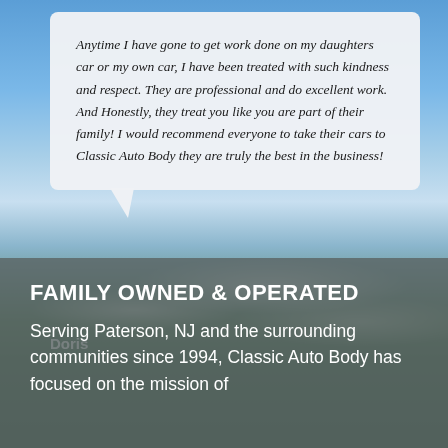Anytime I have gone to get work done on my daughters car or my own car, I have been treated with such kindness and respect. They are professional and do excellent work. And Honestly, they treat you like you are part of their family! I would recommend everyone to take their cars to Classic Auto Body they are truly the best in the business!
Doris
FAMILY OWNED & OPERATED
Serving Paterson, NJ and the surrounding communities since 1994, Classic Auto Body has focused on the mission of...